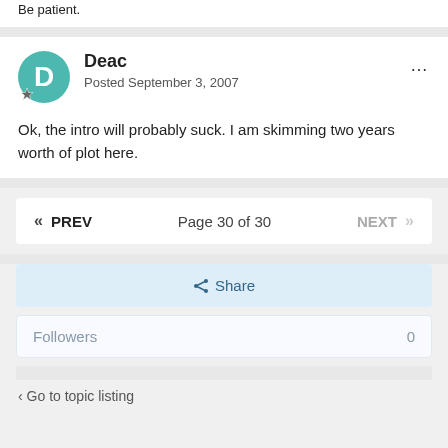Be patient.
Deac
Posted September 3, 2007
Ok, the intro will probably suck. I am skimming two years worth of plot here.
« PREV   Page 30 of 30   NEXT »
Share
Followers   0
Go to topic listing